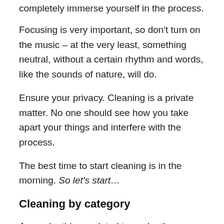completely immerse yourself in the process.
Focusing is very important, so don’t turn on the music – at the very least, something neutral, without a certain rhythm and words, like the sounds of nature, will do.
Ensure your privacy. Cleaning is a private matter. No one should see how you take apart your things and interfere with the process.
The best time to start cleaning is in the morning. So let’s start…
Cleaning by category
As a rule, things related to each other are scattered throughout the dwelling. Clothes, books, documents, and sentimental items huddle in closets and on shelves, in rooms and corridors, in bathrooms and…